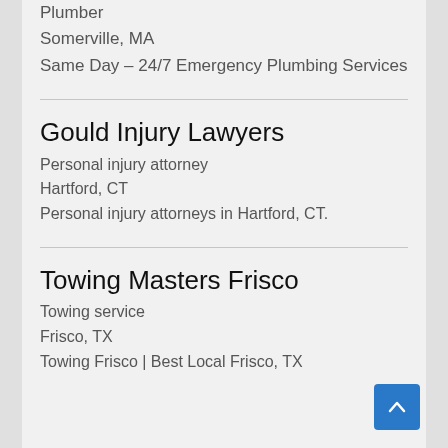Plumber
Somerville, MA
Same Day – 24/7 Emergency Plumbing Services
Gould Injury Lawyers
Personal injury attorney
Hartford, CT
Personal injury attorneys in Hartford, CT.
Towing Masters Frisco
Towing service
Frisco, TX
Towing Frisco | Best Local Frisco, TX